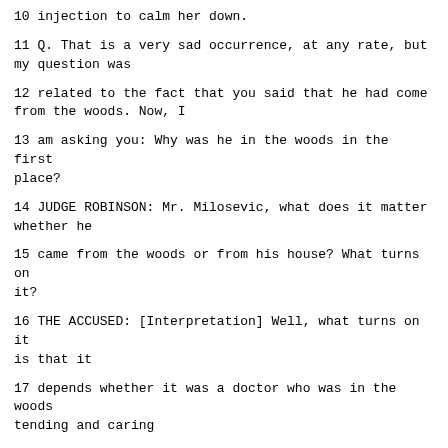10 injection to calm her down.
11 Q. That is a very sad occurrence, at any rate, but my question was
12 related to the fact that you said that he had come from the woods. Now, I
13 am asking you: Why was he in the woods in the first place?
14 JUDGE ROBINSON: Mr. Milosevic, what does it matter whether he
15 came from the woods or from his house? What turns on it?
16 THE ACCUSED: [Interpretation] Well, what turns on it is that it
17 depends whether it was a doctor who was in the woods tending and caring
18 for the KLA or not.
19 JUDGE ROBINSON: Then perhaps you might want to put that
20 directly.
21 THE ACCUSED: [Interpretation] Well, yes, let me ask